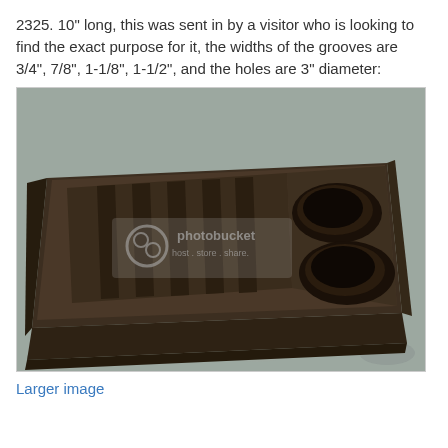2325. 10" long, this was sent in by a visitor who is looking to find the exact purpose for it, the widths of the grooves are 3/4", 7/8", 1-1/8", 1-1/2", and the holes are 3" diameter:
[Figure (photo): A dark wooden tray or organizer photographed from above at an angle. The item has several parallel grooves/slots of varying widths on the left side and two large round holes (approximately 3 inches diameter) on the upper right. The tray has raised edges. A Photobucket watermark is visible on the image. The tray sits on a mottled gray stone or concrete surface.]
Larger image